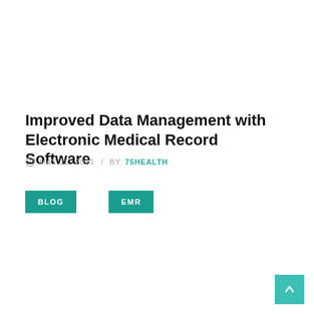Improved Data Management with Electronic Medical Record Software
MAY 12, 2021 / BY 75HEALTH
BLOG
EMR